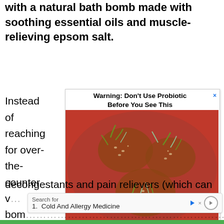with a natural bath bomb made with soothing essential oils and muscle-relieving epsom salt.
Instead of reaching for over-the-counter
[Figure (infographic): Advertisement popup showing 'Warning: Don't Use Probiotic Before You See This' with a photo of a cross-section of a tomato showing sprouting seeds inside, and a link 'Watch Presentation>>']
decongestants and pain relievers (which can w... fizzy bom... al
[Figure (infographic): Search bar overlay showing 'Search for' with item '1. Cold And Allergy Medicine' and an arrow button, with a close X]